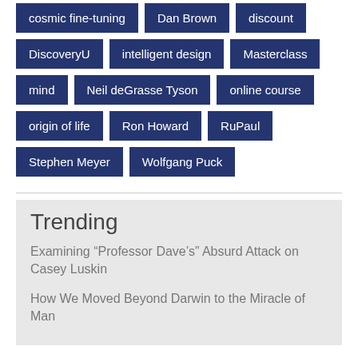cosmic fine-tuning
Dan Brown
discount
DiscoveryU
intelligent design
Masterclass
mind
Neil deGrasse Tyson
online course
origin of life
Ron Howard
RuPaul
Stephen Meyer
Wolfgang Puck
Trending
Examining “Professor Dave’s” Absurd Attack on Casey Luskin
How We Moved Beyond Darwin to the Miracle of Man